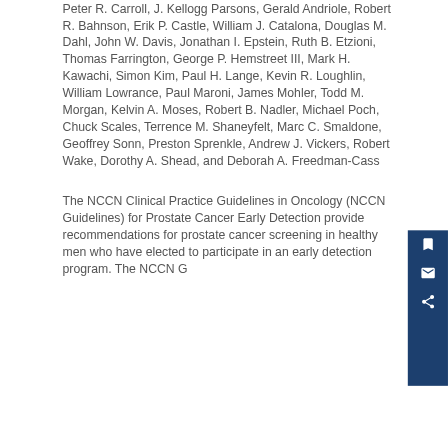Peter R. Carroll, J. Kellogg Parsons, Gerald Andriole, Robert R. Bahnson, Erik P. Castle, William J. Catalona, Douglas M. Dahl, John W. Davis, Jonathan I. Epstein, Ruth B. Etzioni, Thomas Farrington, George P. Hemstreet III, Mark H. Kawachi, Simon Kim, Paul H. Lange, Kevin R. Loughlin, William Lowrance, Paul Maroni, James Mohler, Todd M. Morgan, Kelvin A. Moses, Robert B. Nadler, Michael Poch, Chuck Scales, Terrence M. Shaneyfelt, Marc C. Smaldone, Geoffrey Sonn, Preston Sprenkle, Andrew J. Vickers, Robert Wake, Dorothy A. Shead, and Deborah A. Freedman-Cass
The NCCN Clinical Practice Guidelines in Oncology (NCCN Guidelines) for Prostate Cancer Early Detection provide recommendations for prostate cancer screening in healthy men who have elected to participate in an early detection program. The NCCN G